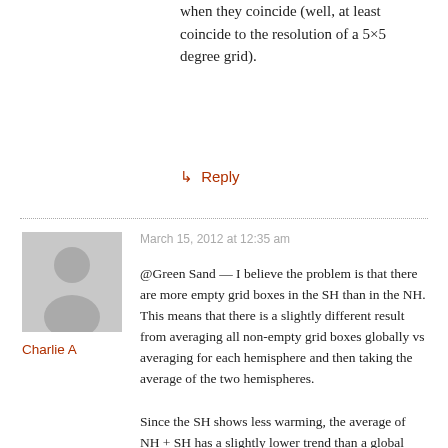when they coincide (well, at least coincide to the resolution of a 5×5 degree grid).
↳ Reply
March 15, 2012 at 12:35 am
[Figure (illustration): Generic user avatar silhouette on grey background]
Charlie A
@Green Sand — I believe the problem is that there are more empty grid boxes in the SH than in the NH. This means that there is a slightly different result from averaging all non-empty grid boxes globally vs averaging for each hemisphere and then taking the average of the two hemispheres.
Since the SH shows less warming, the average of NH + SH has a slightly lower trend than a global average with many